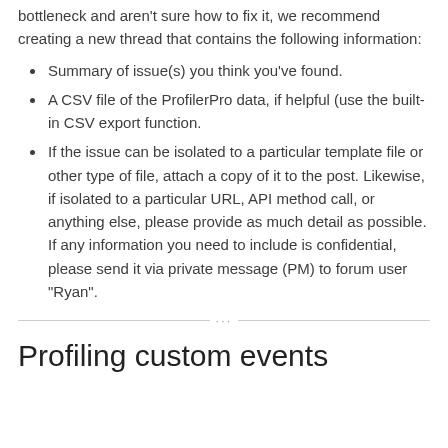bottleneck and aren't sure how to fix it, we recommend creating a new thread that contains the following information:
Summary of issue(s) you think you've found.
A CSV file of the ProfilerPro data, if helpful (use the built-in CSV export function.
If the issue can be isolated to a particular template file or other type of file, attach a copy of it to the post. Likewise, if isolated to a particular URL, API method call, or anything else, please provide as much detail as possible. If any information you need to include is confidential, please send it via private message (PM) to forum user "Ryan".
Profiling custom events